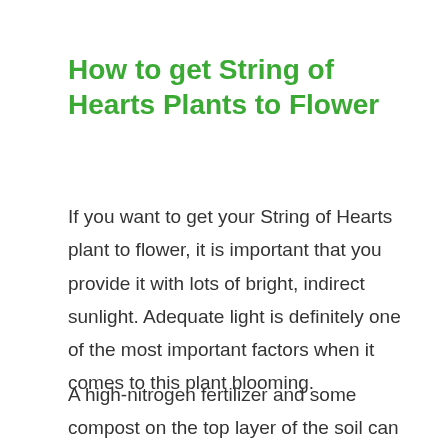How to get String of Hearts Plants to Flower
If you want to get your String of Hearts plant to flower, it is important that you provide it with lots of bright, indirect sunlight. Adequate light is definitely one of the most important factors when it comes to this plant blooming.
A high-nitrogen fertilizer and some compost on the top layer of the soil can also encourage